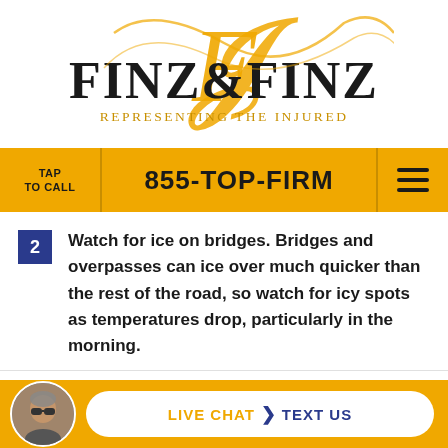[Figure (logo): Finz & Finz law firm logo with golden cursive script overlay and tagline 'Representing The Injured']
TAP TO CALL  855-TOP-FIRM  ☰
2  Watch for ice on bridges. Bridges and overpasses can ice over much quicker than the rest of the road, so watch for icy spots as temperatures drop, particularly in the morning.
3  Slow down in fog. Reduce speed in foggy
[Figure (photo): Chat bar with avatar photo of attorney in sunglasses, Live Chat and Text Us buttons on gold background]